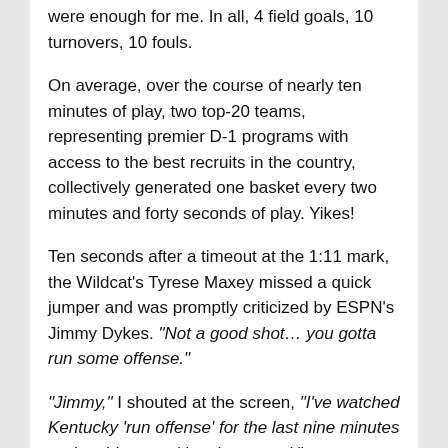were enough for me. In all, 4 field goals, 10 turnovers, 10 fouls.
On average, over the course of nearly ten minutes of play, two top-20 teams, representing premier D-1 programs with access to the best recruits in the country, collectively generated one basket every two minutes and forty seconds of play. Yikes!
Ten seconds after a timeout at the 1:11 mark, the Wildcat's Tyrese Maxey missed a quick jumper and was promptly criticized by ESPN's Jimmy Dykes. "Not a good shot… you gotta run some offense."
"Jimmy," I shouted at the screen, "I've watched Kentucky 'run offense' for the last nine minutes and nothing good has happened."
When your offense produces one basket on seven shot attempts during the final quarter of play – that's roughly a field goal attempt every 1 minute and 43 seconds – there's not much benefit to "running some offense." You